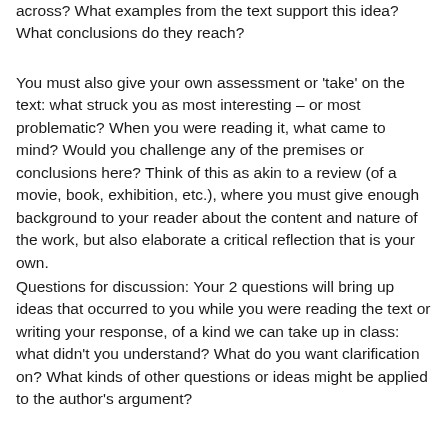across? What examples from the text support this idea? What conclusions do they reach?
You must also give your own assessment or 'take' on the text: what struck you as most interesting – or most problematic? When you were reading it, what came to mind? Would you challenge any of the premises or conclusions here? Think of this as akin to a review (of a movie, book, exhibition, etc.), where you must give enough background to your reader about the content and nature of the work, but also elaborate a critical reflection that is your own.
Questions for discussion: Your 2 questions will bring up ideas that occurred to you while you were reading the text or writing your response, of a kind we can take up in class: what didn't you understand? What do you want clarification on? What kinds of other questions or ideas might be applied to the author's argument?